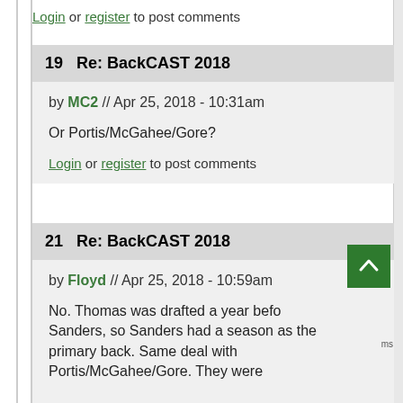Login or register to post comments
19   Re: BackCAST 2018
by MC2 // Apr 25, 2018 - 10:31am
Or Portis/McGahee/Gore?
Login or register to post comments
21   Re: BackCAST 2018
by Floyd // Apr 25, 2018 - 10:59am
No. Thomas was drafted a year before Sanders, so Sanders had a season as the primary back. Same deal with Portis/McGahee/Gore. They were